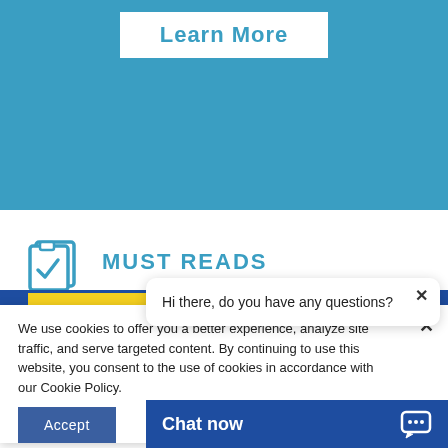[Figure (other): Blue background section with a Learn More button in white with blue text]
MUST READS
We use cookies to offer you a better experience, analyze site traffic, and serve targeted content. By continuing to use this website, you consent to the use of cookies in accordance with our Cookie Policy.
Hi there, do you have any questions?
Chat now